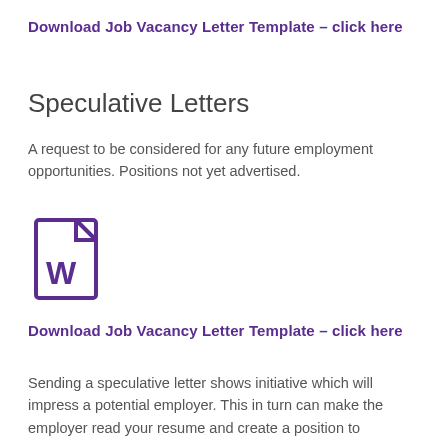Download Job Vacancy Letter Template – click here
Speculative Letters
A request to be considered for any future employment opportunities. Positions not yet advertised.
[Figure (illustration): Microsoft Word document icon with letter W, purple outline]
Download Job Vacancy Letter Template – click here
Sending a speculative letter shows initiative which will impress a potential employer. This in turn can make the employer read your resume and create a position to